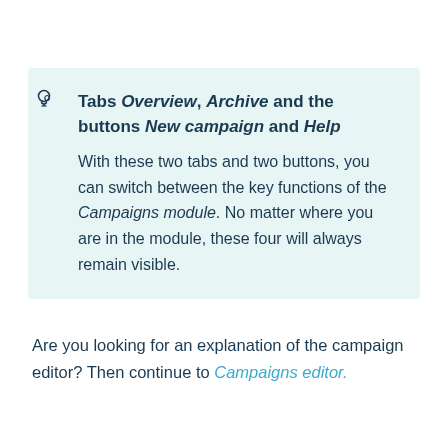Tabs Overview, Archive and the buttons New campaign and Help
With these two tabs and two buttons, you can switch between the key functions of the Campaigns module. No matter where you are in the module, these four will always remain visible.
Are you looking for an explanation of the campaign editor? Then continue to Campaigns editor.